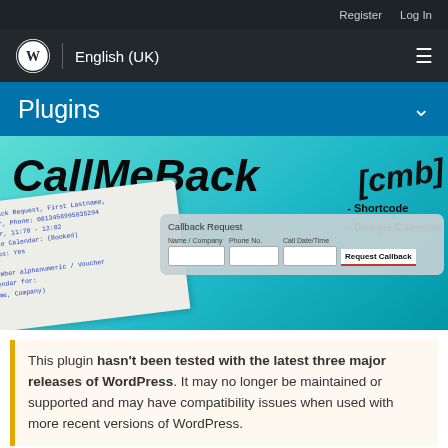Register   Log In
WordPress Logo | English (UK)
Plugins
[Figure (screenshot): CallMeBack plugin hero banner with teal gradient background showing plugin title 'CallMeBack', a [cmb] shortcode annotation, '- Shortcode - Google Calendar' features text, a callback request form overlay with fields for Name/Company, Phone No, Call Date/Time and Request Callback button, and a paper/form mockup in lower left.]
This plugin hasn't been tested with the latest three major releases of WordPress. It may no longer be maintained or supported and may have compatibility issues when used with more recent versions of WordPress.